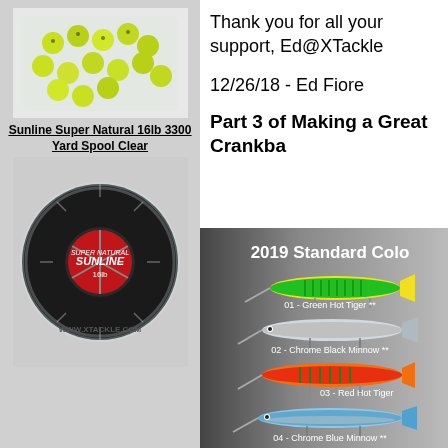[Figure (photo): Yellow/green fishing beads in a clear bag]
Sunline Super Natural 16lb 3300 Yard Spool Clear
[Figure (photo): Sunline Super Natural 16lb fishing line spool with WWW.XTACKLE.COM watermark]
Thank you for all your support, Ed@XTackle
12/26/18 - Ed Fiore
Part 3 of Making a Great Crankba
[Figure (photo): 2019 Standard Colors fishing lures: 01 - Green Hot Tiger **, 02 - Chrome Black Minnow **, 03 - Red Hot Tiger, 04 - Chrome Blue Minnow **]